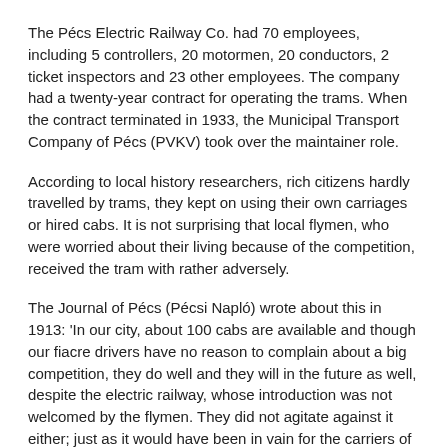The Pécs Electric Railway Co. had 70 employees, including 5 controllers, 20 motormen, 20 conductors, 2 ticket inspectors and 23 other employees. The company had a twenty-year contract for operating the trams. When the contract terminated in 1933, the Municipal Transport Company of Pécs (PVKV) took over the maintainer role.
According to local history researchers, rich citizens hardly travelled by trams, they kept on using their own carriages or hired cabs. It is not surprising that local flymen, who were worried about their living because of the competition, received the tram with rather adversely.
The Journal of Pécs (Pécsi Napló) wrote about this in 1913: 'In our city, about 100 cabs are available and though our fiacre drivers have no reason to complain about a big competition, they do well and they will in the future as well, despite the electric railway, whose introduction was not welcomed by the flymen. They did not agitate against it either; just as it would have been in vain for the carriers of Pécs to do anything against the railway, it would have been constructed anyway!'